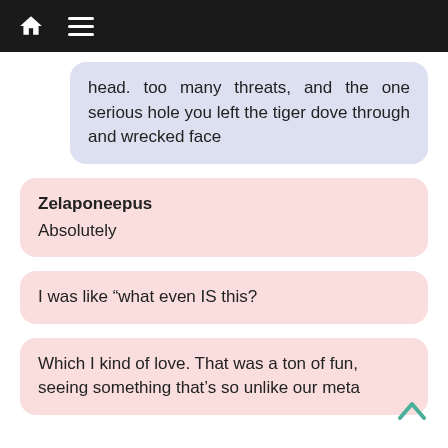head. too many threats, and the one serious hole you left the tiger dove through and wrecked face
Zelaponeepus
Absolutely
I was like “what even IS this?
Which I kind of love. That was a ton of fun, seeing something that’s so unlike our meta